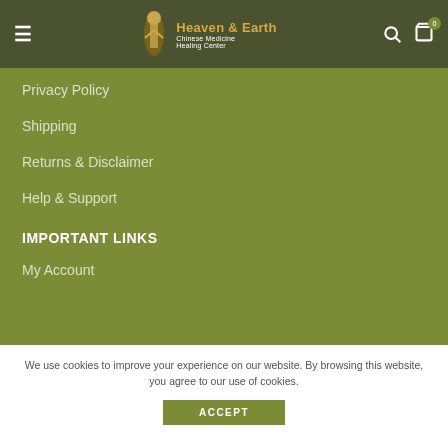[Figure (logo): Heaven & Earth Chinese Medicine Healing Center logo with navigation bar including hamburger menu, search and cart icons]
Privacy Policy
Shipping
Returns & Disclaimer
Help & Support
IMPORTANT LINKS
My Account
We use cookies to improve your experience on our website. By browsing this website, you agree to our use of cookies.